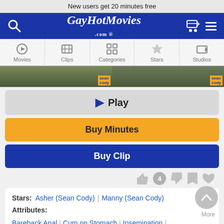New users get 20 minutes free
[Figure (screenshot): GayHotMovies.com website header with blue background, search icon, logo, cart and menu icons]
[Figure (screenshot): Navigation tabs: Movies, Clips, Categories, Stars, Studios]
[Figure (photo): Two thumbnail images from Sean Cody]
▶ Play
Buy Minutes
Buy Clip
4
Stars: Asher (Sean Cody) | Manny (Sean Cody)
Attributes:
Bareback Anal | Cum on Stomach | Insemination | Cum on Self | Face Fuck